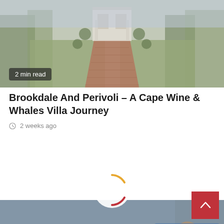[Figure (photo): Landscape photo of a formal garden with a brick pathway leading to a building, flanked by trees and green grass]
2 min read
Brookdale And Perivoli – A Cape Wine & Whales Villa Journey
2 weeks ago
[Figure (photo): Monochrome street scene with people walking, large letters on a building in background, and a cutout figure of Nelson Mandela in ornate jacket on the right side. LIFESTYLE badge in top left.]
4 min read